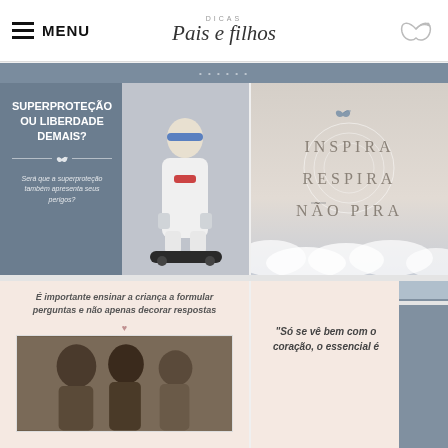MENU | DICAS Pais e Filhos
[Figure (screenshot): Gray banner strip partially visible at top of content area]
[Figure (infographic): Card with dark blue-gray background: 'SUPERPROTEÇÃO OU LIBERDADE DEMAIS?' with decorative bird divider and italic text 'Será que a superproteção também apresenta seus perigos?' alongside photo of child on hoverboard wearing helmet and protective gear]
[Figure (infographic): Card with sky/clouds background showing text: INSPIRA RESPIRA NÃO PIRA with small bird icon, pastel beige/cloud color scheme]
[Figure (infographic): Card with pink/peach background: italic bold text 'É importante ensinar a criança a formular perguntas e não apenas decorar respostas' with photo of children below]
[Figure (infographic): Card with peach left side showing quote 'Só se vê bem com o coração, o essencial é' and dark blue-gray right side panel]